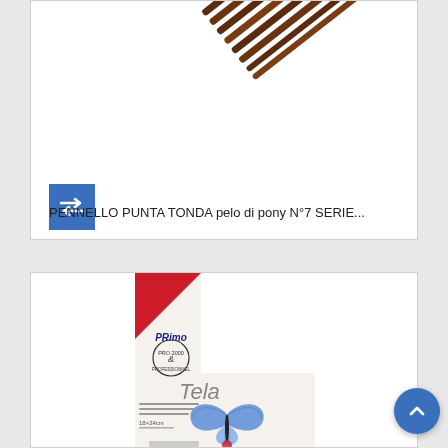[Figure (photo): Photo of multiple artist paintbrushes (round tip, pony hair) arranged diagonally with dark brown handles and silver ferrules, on white background]
PENNELLO PUNTA TONDA pelo di pony N°7 SERIE...
[Figure (photo): Photo of a Primo brand 'Tela' (canvas) product in packaging. The package shows a red triangle in corner, the Primo logo, a circular PRO 2000 & PROFESSIONNEL seal, the word 'Tela' in large text, product description text, dimensions '18x24cm', and a decorative blue butterfly illustration. Bottom has a red Primo logo mark.]